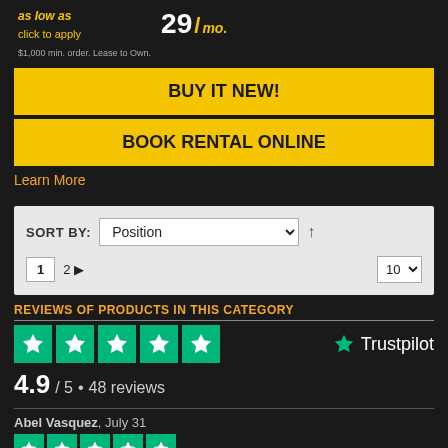as low as / click to apply / $1,000 min. order. Lease to Own. 29 /mo.
BUY IT NEW!
BOOK RENTAL ONLINE
Learn More
SORT BY: Position  1  2 ▶  10
REVIEWS OF PRODUCTS IN THIS CATEGORY
[Figure (other): Trustpilot 5-star rating logos (green stars) with Trustpilot branding]
4.9 / 5 • 48 reviews
Abel Vasquez, July 31
[Figure (other): 5 green Trustpilot stars for Abel Vasquez review]